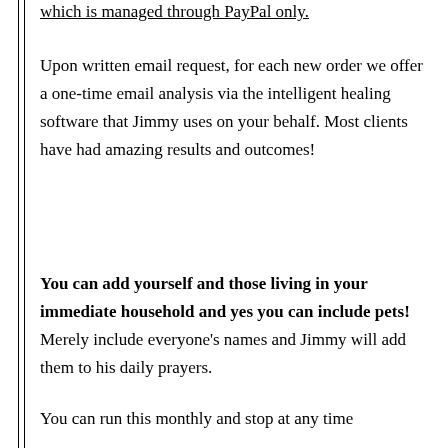which is managed through PayPal only.
Upon written email request, for each new order we offer a one-time email analysis via the intelligent healing software that Jimmy uses on your behalf. Most clients have had amazing results and outcomes!
You can add yourself and those living in your immediate household and yes you can include pets! Merely include everyone's names and Jimmy will add them to his daily prayers.
You can run this monthly and stop at any time